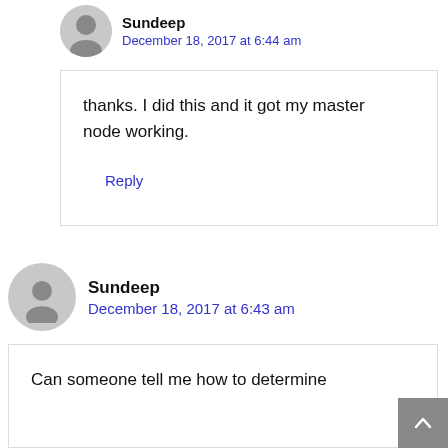Sundeep
December 18, 2017 at 6:44 am
thanks. I did this and it got my master node working.
Reply
Sundeep
December 18, 2017 at 6:43 am
Can someone tell me how to determine